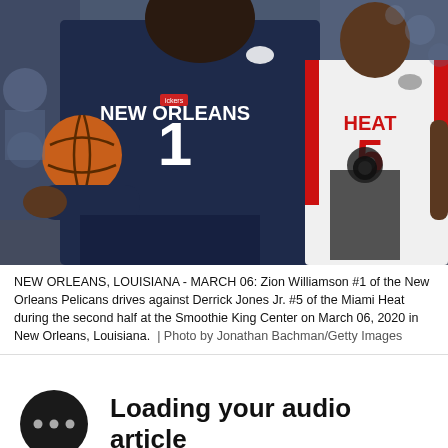[Figure (photo): NBA basketball game photo showing Zion Williamson #1 of the New Orleans Pelicans (dark navy uniform) dribbling the ball while being defended by Derrick Jones Jr. #5 of the Miami Heat (white uniform) during second half action at Smoothie King Center.]
NEW ORLEANS, LOUISIANA - MARCH 06: Zion Williamson #1 of the New Orleans Pelicans drives against Derrick Jones Jr. #5 of the Miami Heat during the second half at the Smoothie King Center on March 06, 2020 in New Orleans, Louisiana.  | Photo by Jonathan Bachman/Getty Images
Loading your audio article